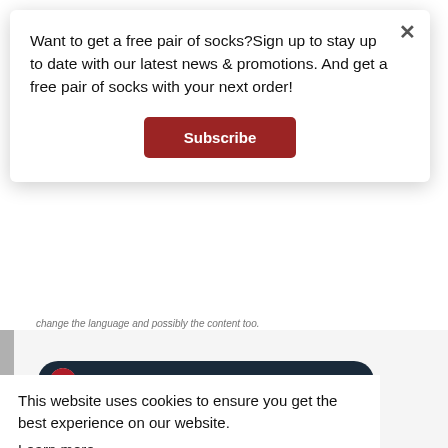Want to get a free pair of socks?Sign up to stay up to date with our latest news & promotions. And get a free pair of socks with your next order!
Subscribe
change the language and possibly the content too.
Netherlands
Germany
This website uses cookies to ensure you get the best experience on our website.
Learn more
France
Understood!
Norway